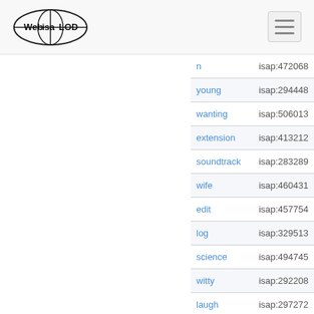Web isa LOD — navigation header with logo and hamburger menu
| term | isap id |
| --- | --- |
| n | isap:472068 |
| young | isap:294448 |
| wanting | isap:506013 |
| extension | isap:413212 |
| soundtrack | isap:283289 |
| wife | isap:460431 |
| edit | isap:457754 |
| log | isap:329513 |
| science | isap:494745 |
| witty | isap:292208 |
| laugh | isap:297272 |